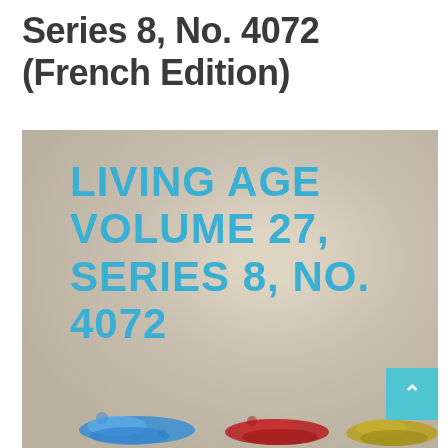Series 8, No. 4072 (French Edition)
[Figure (illustration): Book cover for 'Living Age Volume 27, Series 8, No. 4072' with large cyan/blue text on a textured beige/cream background. At the bottom are paint splatters in blue, red, and yellow/olive colors. A teal scroll-to-top button with an upward arrow chevron is in the bottom right corner.]